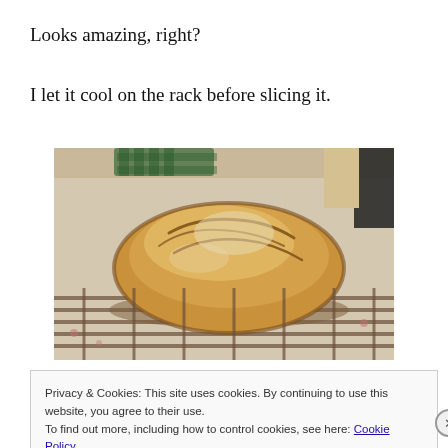Looks amazing, right?
I let it cool on the rack before slicing it.
[Figure (photo): A rustic, golden-crusted artisan bread loaf resting on a wire cooling rack on a decorated surface. Green checkered cloth visible in background.]
Privacy & Cookies: This site uses cookies. By continuing to use this website, you agree to their use.
To find out more, including how to control cookies, see here: Cookie Policy